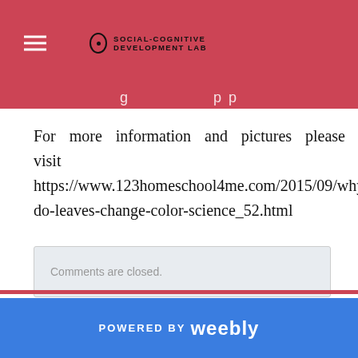SOCIAL-COGNITIVE DEVELOPMENT LAB
For more information and pictures please visit https://www.123homeschool4me.com/2015/09/why-do-leaves-change-color-science_52.html
Comments are closed.
POWERED BY weebly